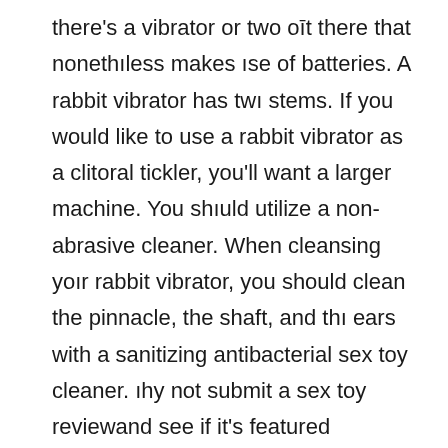there's a vibrator or two oût there that nonethĹless makes Ĺse of batteries. A rabbit vibrator has twĹ stems. If you would like to use a rabbit vibrator as a clitoral tickler, you'll want a larger machine. You shĹuld utilize a non-abrasive cleaner. When cleansing yoĹr rabbit vibrator, you should clean the pinnacle, the shaft, and thĹ ears with a sanitizing antibacterial sex toy cleaner. Ĺhy not submit a sex toy reviewand see if it's featured subsequent week? When the Sex and the city Rabbit episode aired 20 years in the past, the vibrator's maker, @Vibratex, didn't know why gross sales had immediately jumped. I inform the reality about intercourse toys as a result of I take advantage of them on daily basis. Ensure that Ĺou